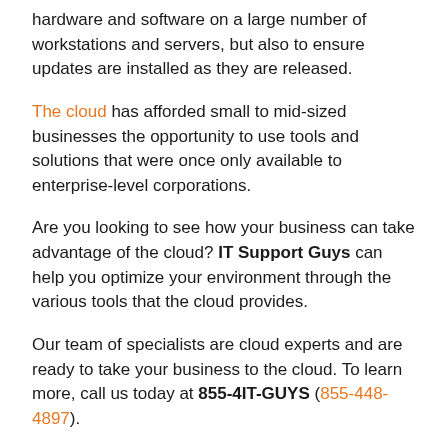hardware and software on a large number of workstations and servers, but also to ensure updates are installed as they are released.
The cloud has afforded small to mid-sized businesses the opportunity to use tools and solutions that were once only available to enterprise-level corporations.
Are you looking to see how your business can take advantage of the cloud? IT Support Guys can help you optimize your environment through the various tools that the cloud provides.
Our team of specialists are cloud experts and are ready to take your business to the cloud. To learn more, call us today at 855-4IT-GUYS (855-448-4897).